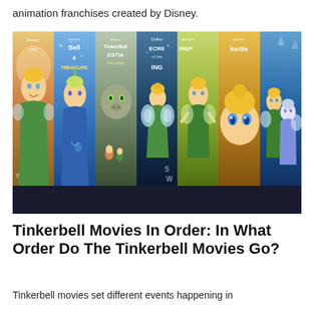animation franchises created by Disney.
[Figure (photo): Collage of Tinkerbell Disney movie posters side by side, showing multiple films in the franchise. Bottom bar reads FINDMOVIESINORDER.COM and Quora with social media icons.]
Tinkerbell Movies In Order: In What Order Do The Tinkerbell Movies Go?
Tinkerbell movies set different events happening in